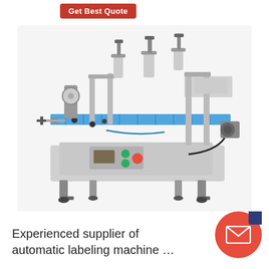Get Best Quote
[Figure (photo): Industrial automatic labeling machine with blue conveyor belt, stainless steel frame, control panel with green and red buttons, and various mechanical components including rollers and guide rails.]
Experienced supplier of automatic labeling machine …